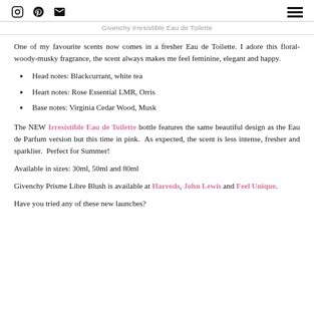Givenchy Irresistible Eau de Toilette
One of my favourite scents now comes in a fresher Eau de Toilette. I adore this floral-woody-musky fragrance, the scent always makes me feel feminine, elegant and happy.
Head notes: Blackcurrant, white tea
Heart notes: Rose Essential LMR, Orris
Base notes: Virginia Cedar Wood, Musk
The NEW Irresistible Eau de Toilette bottle features the same beautiful design as the Eau de Parfum version but this time in pink. As expected, the scent is less intense, fresher and sparklier. Perfect for Summer!
Available in sizes: 30ml, 50ml and 80ml
Givenchy Prisme Libre Blush is available at Harrods, John Lewis and Feel Unique.
Have you tried any of these new launches?